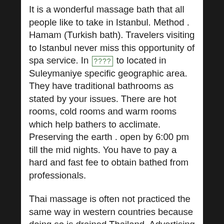It is a wonderful massage bath that all people like to take in Istanbul. Method . Hamam (Turkish bath). Travelers visiting to Istanbul never miss this opportunity of spa service. In [????] to located in Suleymaniye specific geographic area. They have traditional bathrooms as stated by your issues. There are hot rooms, cold rooms and warm rooms which help bathers to acclimate. Preserving the earth . open by 6:00 pm till the mid nights. You have to pay a hard and fast fee to obtain bathed from professionals.
Thai massage is often not practiced the same way in western countries because doing so is drained Thailand. Advertising for can be that western therapists, unlike their Thai counterparts, cash more access and contact with other massage styles. Therefore there is invariably a tendency to